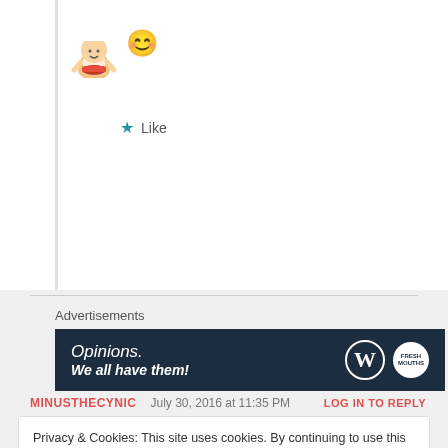[Figure (illustration): Chef cartoon avatar (cook holding a bowl) with a yellow smiley face emoji to the right]
★ Like
Advertisements
[Figure (screenshot): Dark navy advertisement banner reading 'Opinions. We all have them!' with WordPress and Fresh Mouths logos]
MINUSTHECYNIC   July 30, 2016 at 11:35 PM   LOG IN TO REPLY
Privacy & Cookies: This site uses cookies. By continuing to use this website, you agree to their use.
To find out more, including how to control cookies, see here: Cookie Policy
Close and accept